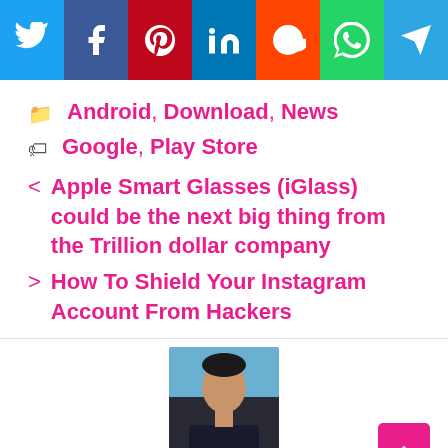[Figure (infographic): Social media share buttons bar: Twitter (blue), Facebook (dark blue), Pinterest (red), LinkedIn (blue), Reddit (orange-red), WhatsApp (green), Telegram (light blue)]
Android, Download, News
Google, Play Store
< Apple Smart Glasses (iGlass) could be the next big thing from the Trillion dollar company
> How To Shield Your Instagram Account From Hackers
[Figure (photo): Author photo: young man with dark hair, seated, wearing dark shirt, blue background]